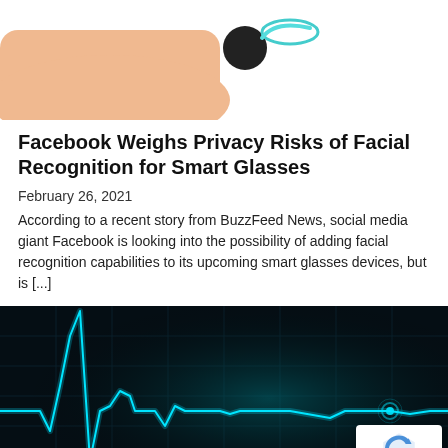[Figure (illustration): Partial illustration of a person wearing smart glasses, showing a hand/arm and glasses device on a white background, cropped at top of page]
Facebook Weighs Privacy Risks of Facial Recognition for Smart Glasses
February 26, 2021
According to a recent story from BuzzFeed News, social media giant Facebook is looking into the possibility of adding facial recognition capabilities to its upcoming smart glasses devices, but is [...]
[Figure (photo): Dark background with a glowing cyan/teal ECG/heartbeat line waveform, with a glowing dot at the end of the line. Bottom-right corner has a reCAPTCHA badge showing the reCAPTCHA logo and 'Privacy · Terms' text.]